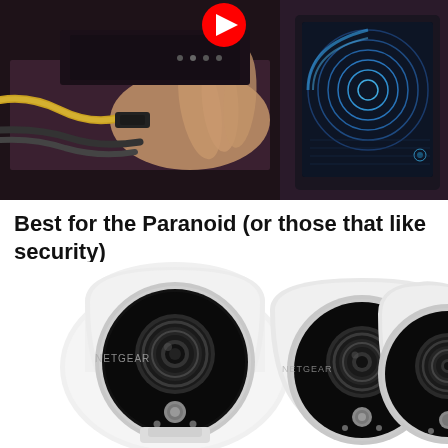[Figure (screenshot): Video thumbnail showing a person's hand connecting cables to electronic equipment, with a tablet/screen displaying a blue arc interface visible on the right. A red YouTube play button overlay is at the top center.]
Best for the Paranoid (or those that like security)
[Figure (photo): Three Netgear Arlo security cameras shown side by side. Each camera is white with a black oval front housing, a camera lens in the center, and small LED lights at the bottom. The leftmost camera has 'NETGEAR' text on it.]